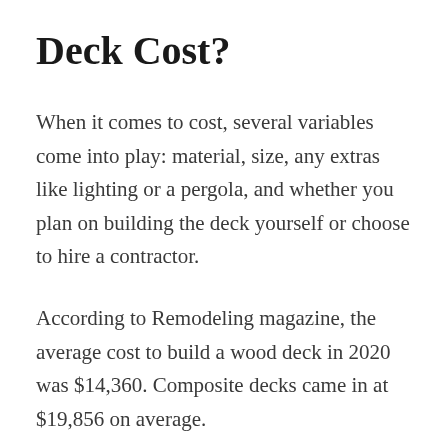Deck Cost?
When it comes to cost, several variables come into play: material, size, any extras like lighting or a pergola, and whether you plan on building the deck yourself or choose to hire a contractor.
According to Remodeling magazine, the average cost to build a wood deck in 2020 was $14,360. Composite decks came in at $19,856 on average.
Some big-box hardware stores and deck